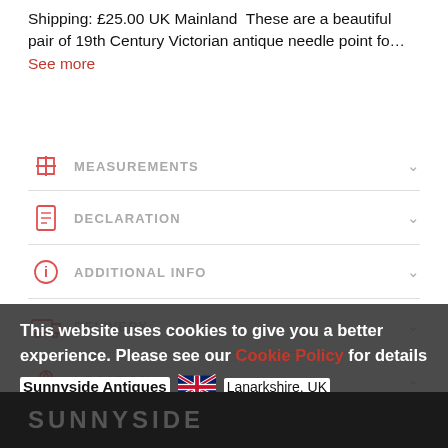Shipping: £25.00 UK Mainland  These are a beautiful pair of 19th Century Victorian antique needle point fo… See more
MEASUREMENTS
DECLARATION
ADDITIONAL INFO
DELIVERY
LOCATION
This website uses cookies to give you a better experience. Please see our Cookie Policy for details
Got it
Sunnyside Antiques  Lanarkshire, UK
SUNNYSIDE